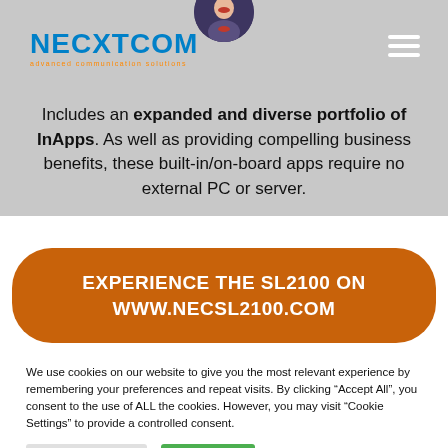NECXTCOM | advanced communication solutions
[Figure (logo): NECXTCOM logo with orange tagline 'advanced communication solutions' and hamburger menu icon]
Includes an expanded and diverse portfolio of InApps. As well as providing compelling business benefits, these built-in/on-board apps require no external PC or server.
EXPERIENCE THE SL2100 ON WWW.NECSL2100.COM
We use cookies on our website to give you the most relevant experience by remembering your preferences and repeat visits. By clicking “Accept All”, you consent to the use of ALL the cookies. However, you may visit “Cookie Settings” to provide a controlled consent.